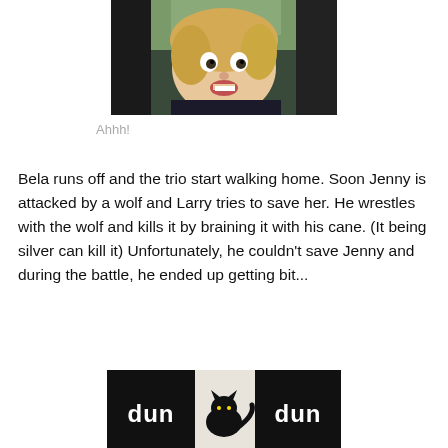[Figure (photo): Close-up selfie photo of a woman with blonde hair making a surprised/scared facial expression, sitting in a car with trees visible in background]
Ahhh!
Bela runs off and the trio start walking home. Soon Jenny is attacked by a wolf and Larry tries to save her. He wrestles with the wolf and kills it by braining it with his cane. (It being silver can kill it) Unfortunately, he couldn't save Jenny and during the battle, he ended up getting bit...
[Figure (photo): Dark meme image showing a black cat silhouette against a white background with the text 'dun dun' in white letters on black panels on either side]